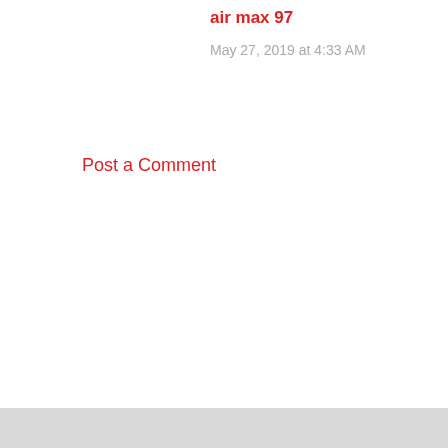air max 97
May 27, 2019 at 4:33 AM
Post a Comment